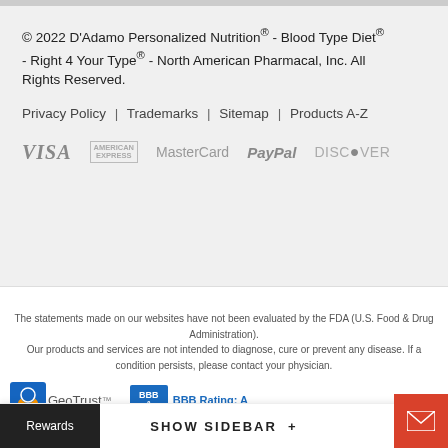© 2022 D'Adamo Personalized Nutrition® - Blood Type Diet® - Right 4 Your Type® - North American Pharmacal, Inc. All Rights Reserved.
Privacy Policy | Trademarks | Sitemap | Products A-Z
[Figure (other): Payment method logos: VISA, AMERICAN EXPRESS, MasterCard, PayPal, DISCOVER]
The statements made on our websites have not been evaluated by the FDA (U.S. Food & Drug Administration). Our products and services are not intended to diagnose, cure or prevent any disease. If a condition persists, please contact your physician.
[Figure (other): GeoTrust trust badge and BBB Rating: A badge]
SHOW SIDEBAR +
Rewards